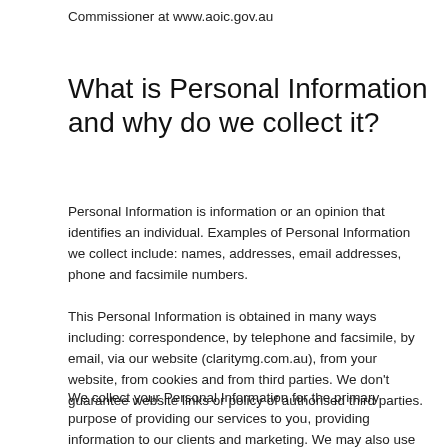Commissioner at www.aoic.gov.au
What is Personal Information and why do we collect it?
Personal Information is information or an opinion that identifies an individual. Examples of Personal Information we collect include: names, addresses, email addresses, phone and facsimile numbers.
This Personal Information is obtained in many ways including: correspondence, by telephone and facsimile, by email, via our website (claritymg.com.au), from your website, from cookies and from third parties. We don't guarantee website links or policy of authorised third parties.
We collect your Personal Information for the primary purpose of providing our services to you, providing information to our clients and marketing. We may also use your Personal Information for secondary purposes closely related to the primary purpose, in circumstances where you would reasonably expect such use or disclosure. You may unsubscribe from our mailing/marketing lists at any time by